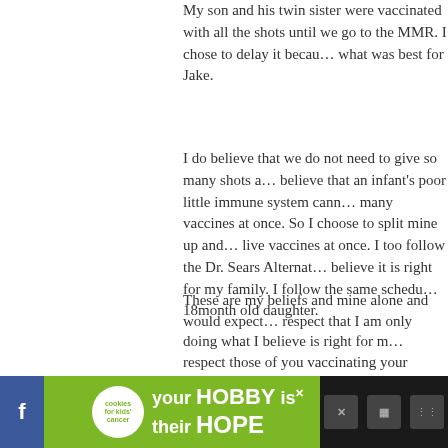My son and his twin sister were vaccinated with all the shots until we go to the MMR. I chose to delay it because what was best for Jake.
I do believe that we do not need to give so many shots at once. I believe that an infant's poor little immune system cannot handle so many vaccines at once. So I choose to split mine up and never give two live vaccines at once. I too follow the Dr. Sears Alternative Schedule and believe it is right for my family. I follow the same schedule for my 18month old daughter.
These are my beliefs and mine alone and would expect the same respect that I am only doing what I believe is right for my kids. I respect those of you vaccinating your children on the schedule you believe to be right for your own.
We are all just parents trying to do what the best for our children.
.-= Jenn´s last blog ..Trials and Tribulations =-.
> Reply
82  wendy thomas says:
[Figure (other): Advertisement banner: cookies for kids cancer logo, 'your HOBBY is their HOPE' text on green background, with close button and social media icons]